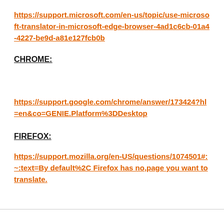https://support.microsoft.com/en-us/topic/use-microsoft-translator-in-microsoft-edge-browser-4ad1c6cb-01a4-4227-be9d-a81e127fcb0b
CHROME:
https://support.google.com/chrome/answer/173424?hl=en&co=GENIE.Platform%3DDesktop
FIREFOX:
https://support.mozilla.org/en-US/questions/1074501#:~:text=By default%2C Firefox has no,page you want to translate.